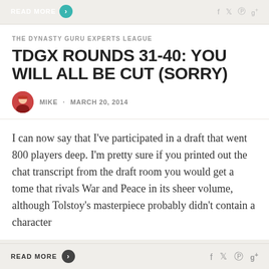READ MORE
THE DYNASTY GURU EXPERTS LEAGUE
TDGX ROUNDS 31-40: YOU WILL ALL BE CUT (SORRY)
MIKE · MARCH 20, 2014
I can now say that I've participated in a draft that went 800 players deep. I'm pretty sure if you printed out the chat transcript from the draft room you would get a tome that rivals War and Peace in its sheer volume, although Tolstoy's masterpiece probably didn't contain a character
READ MORE